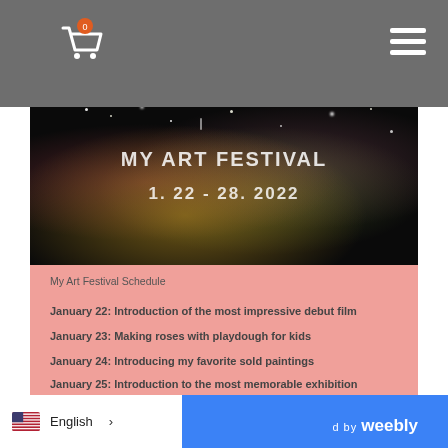[Figure (screenshot): Website navigation bar with shopping cart icon (badge showing 0) and hamburger menu icon on gray background]
[Figure (photo): Art festival banner with colorful abstract splashes and sparkles on dark background. Text reads MY ART FESTIVAL and 1. 22 - 28. 2022]
My Art Festival Schedule
January 22: Introduction of the most impressive debut film
January 23: Making roses with playdough for kids
January 24: Introducing my favorite sold paintings
January 25: Introduction to the most memorable exhibition
January 26: Introduction of the most meaningful work among recent works
English > D BY weebly